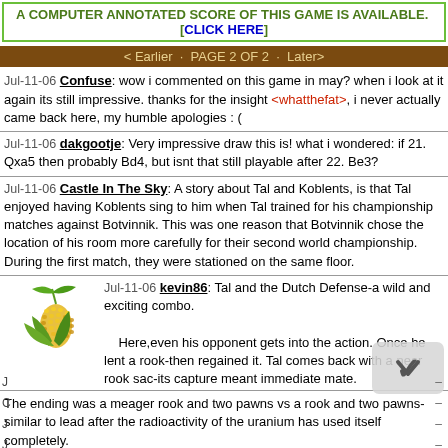A COMPUTER ANNOTATED SCORE OF THIS GAME IS AVAILABLE. [CLICK HERE]
< Earlier · PAGE 2 OF 2 · Later>
Jul-11-06 Confuse: wow i commented on this game in may? when i look at it again its still impressive. thanks for the insight <whatthefat>, i never actually came back here, my humble apologies : (
Jul-11-06 dakgootje: Very impressive draw this is! what i wondered: if 21. Qxa5 then probably Bd4, but isnt that still playable after 22. Be3?
Jul-11-06 Castle In The Sky: A story about Tal and Koblents, is that Tal enjoyed having Koblents sing to him when Tal trained for his championship matches against Botvinnik. This was one reason that Botvinnik chose the location of his room more carefully for their second world championship. During the first match, they were stationed on the same floor.
[Figure (illustration): Corn/maize icon avatar]
Jul-11-06 kevin86: Tal and the Dutch Defense-a wild and exciting combo. Here,even his opponent gets into the action. Once he lent a rook-then regained it. Tal comes back with a near rook sac-its capture meant immediate mate.
The ending was a meager rook and two pawns vs a rook and two pawns-similar to lead after the radioactivity of the uranium has used itself completely.